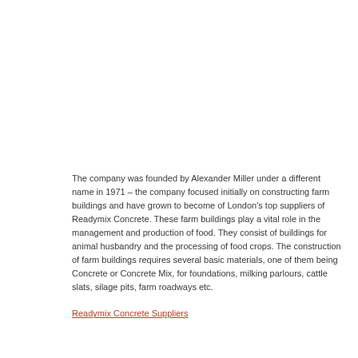The company was founded by Alexander Miller under a different name in 1971 – the company focused initially on constructing farm buildings and have grown to become of London's top suppliers of Readymix Concrete. These farm buildings play a vital role in the management and production of food. They consist of buildings for animal husbandry and the processing of food crops. The construction of farm buildings requires several basic materials, one of them being Concrete or Concrete Mix, for foundations, milking parlours, cattle slats, silage pits, farm roadways etc.
Readymix Concrete Suppliers